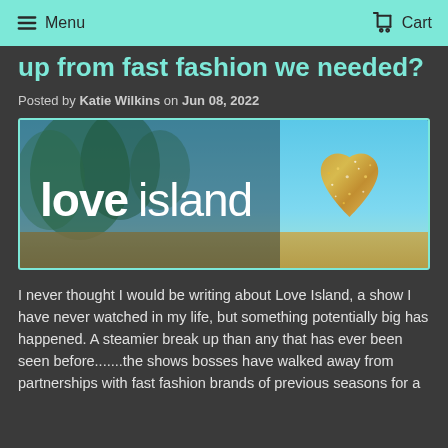Menu   Cart
up from fast fashion we needed?
Posted by Katie Wilkins on Jun 08, 2022
[Figure (photo): Love Island TV show promotional banner with logo text 'love island' in white bold font and a gold glitter heart on the right, tropical beach background with palm trees and blue sky]
I never thought I would be writing about Love Island, a show I have never watched in my life, but something potentially big has happened. A steamier break up than any that has ever been seen before.......the shows bosses have walked away from partnerships with fast fashion brands of previous seasons for a